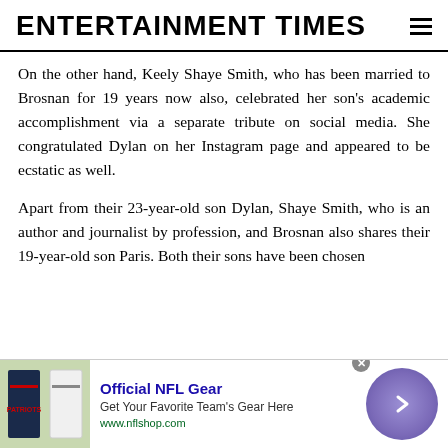ENTERTAINMENT TIMES
On the other hand, Keely Shaye Smith, who has been married to Brosnan for 19 years now also, celebrated her son’s academic accomplishment via a separate tribute on social media. She congratulated Dylan on her Instagram page and appeared to be ecstatic as well.
Apart from their 23-year-old son Dylan, Shaye Smith, who is an author and journalist by profession, and Brosnan also shares their 19-year-old son Paris. Both their sons have been chosen
[Figure (other): Advertisement banner for Official NFL Gear with NFL jersey image, text 'Official NFL Gear - Get Your Favorite Team’s Gear Here - www.nflshop.com', a purple circular arrow button, and a close (x) button.]